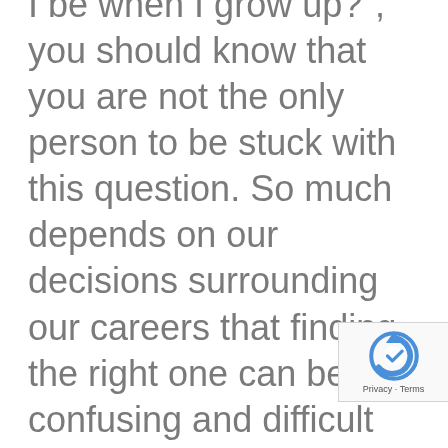I be when I grow up?", you should know that you are not the only person to be stuck with this question. So much depends on our decisions surrounding our careers that finding the right one can be a confusing and difficult choice to make. This is why taking the what will I be when I grow up quiz can point you in the